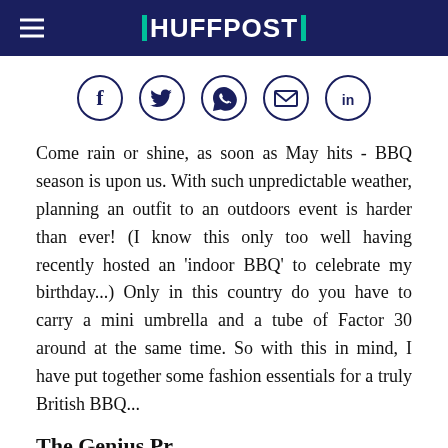HUFFPOST
[Figure (infographic): Social share icons in circles: Facebook, Twitter, WhatsApp, Email, LinkedIn]
Come rain or shine, as soon as May hits - BBQ season is upon us. With such unpredictable weather, planning an outfit to an outdoors event is harder than ever! (I know this only too well having recently hosted an 'indoor BBQ' to celebrate my birthday...) Only in this country do you have to carry a mini umbrella and a tube of Factor 30 around at the same time. So with this in mind, I have put together some fashion essentials for a truly British BBQ...
The Genius Pr...